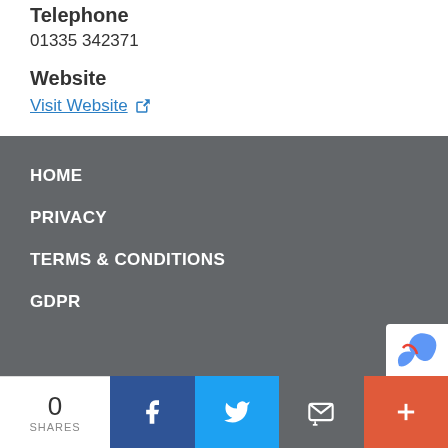Telephone
01335 342371
Website
Visit Website
HOME
PRIVACY
TERMS & CONDITIONS
GDPR
0 SHARES | Facebook | Twitter | Email | More